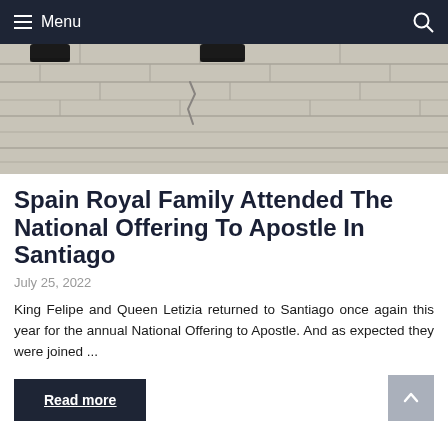Menu
[Figure (photo): Close-up of stone pavement tiles with a crack, with feet and shoes visible at the top edge]
Spain Royal Family Attended The National Offering To Apostle In Santiago
July 25, 2022
King Felipe and Queen Letizia returned to Santiago once again this year for the annual National Offering to Apostle. And as expected they were joined ...
Read more